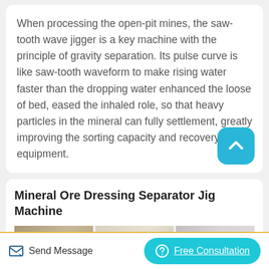When processing the open-pit mines, the saw-tooth wave jigger is a key machine with the principle of gravity separation. Its pulse curve is like saw-tooth waveform to make rising water faster than the dropping water enhanced the loose of bed, eased the inhaled role, so that heavy particles in the mineral can fully settlement, greatly improving the sorting capacity and recovery rate of equipment.
[Figure (illustration): Scroll-to-top button (teal rounded square with upward chevron icon)]
Mineral Ore Dressing Separator Jig Machine
[Figure (photo): Product images of mineral ore dressing separator jig machines, showing three photos side by side]
Send Message   Free Consultation